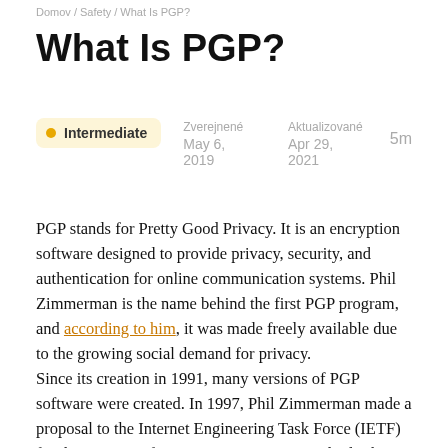Domov / Safety / What Is PGP?
What Is PGP?
Intermediate  Zverejnené May 6, 2019  Aktualizované Apr 29, 2021  5m
PGP stands for Pretty Good Privacy. It is an encryption software designed to provide privacy, security, and authentication for online communication systems. Phil Zimmerman is the name behind the first PGP program, and according to him, it was made freely available due to the growing social demand for privacy.
Since its creation in 1991, many versions of PGP software were created. In 1997, Phil Zimmerman made a proposal to the Internet Engineering Task Force (IETF) for the creation of an open-source PGP standard. The proposal